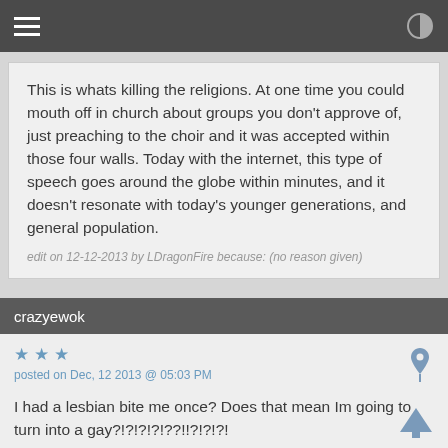This is whats killing the religions. At one time you could mouth off in church about groups you don't approve of, just preaching to the choir and it was accepted within those four walls. Today with the internet, this type of speech goes around the globe within minutes, and it doesn't resonate with today's younger generations, and general population.
edit on 12-12-2013 by LDragonFire because: (no reason given)
crazyewok
posted on Dec, 12 2013 @ 05:03 PM
I had a lesbian bite me once? Does that mean Im going to turn into a gay?!?!?!?!??!!?!?!?!